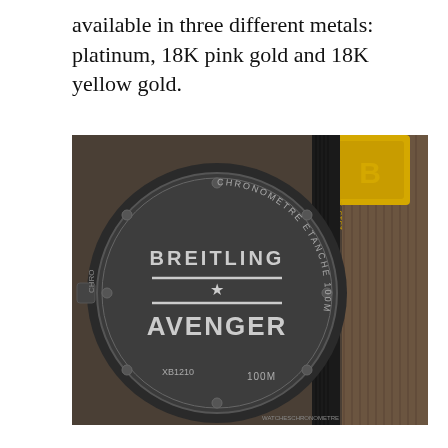available in three different metals: platinum, 18K pink gold and 18K yellow gold.
[Figure (photo): Close-up photograph of the caseback of a Breitling Avenger watch, showing the engraved text 'BREITLING AVENGER' with a star, along with 'CHRONOMETRE ETANCHE 100M' around the edge, model number XB1210, serial 2515 2420, and a yellow buckle clasp with the Breitling 'B' logo visible in the upper right corner. The watch has a brown leather strap.]
Since its relaunch, the Saxon manufacture has presented twelve models with such a